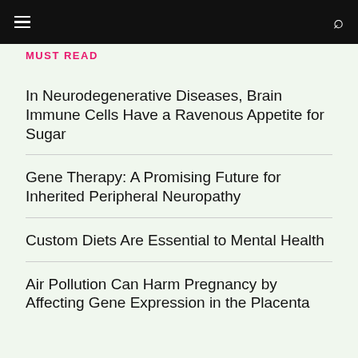MUST READ
In Neurodegenerative Diseases, Brain Immune Cells Have a Ravenous Appetite for Sugar
Gene Therapy: A Promising Future for Inherited Peripheral Neuropathy
Custom Diets Are Essential to Mental Health
Air Pollution Can Harm Pregnancy by Affecting Gene Expression in the Placenta